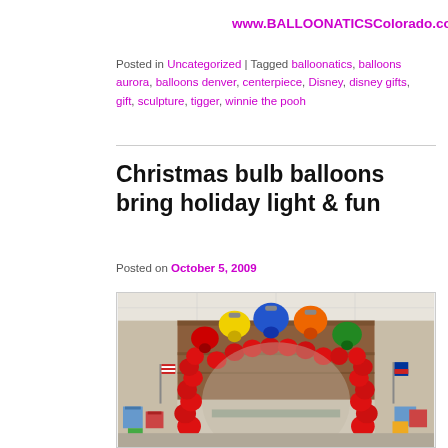www.BALLOONATICSColorado.com
Posted in Uncategorized | Tagged balloonatics, balloons aurora, balloons denver, centerpiece, Disney, disney gifts, gift, sculpture, tigger, winnie the pooh
Christmas bulb balloons bring holiday light & fun
Posted on October 5, 2009
[Figure (photo): Photo of a red balloon arch decorated to look like Christmas lights, with large colorful balloon bulbs (yellow, blue, orange, green, red) on top of the arch. Scene is inside a room with wrapped gifts and flags in the background.]